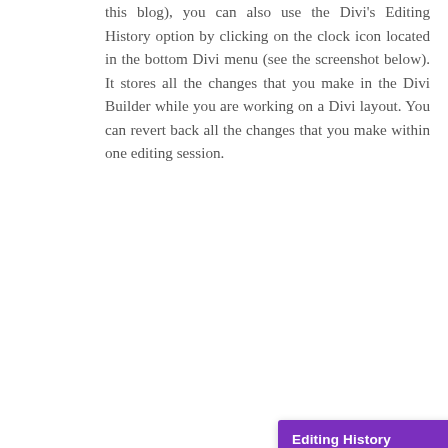this blog), you can also use the Divi's Editing History option by clicking on the clock icon located in the bottom Divi menu (see the screenshot below). It stores all the changes that you make in the Divi Builder while you are working on a Divi layout. You can revert back all the changes that you make within one editing session.
[Figure (screenshot): Screenshot of Divi's Editing History panel showing a purple header with 'Editing History' title and icons, a 'History States' subheader, and a list of history entries: Loaded Page (2:56:14 PM), Added Row (3:00:53 PM), Added Text (3:01:00 PM), Edited Text (3:01:07 PM).]